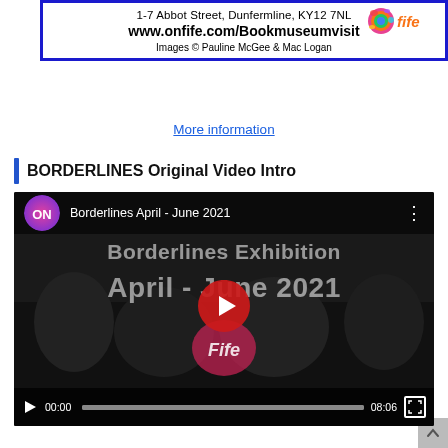[Figure (other): Museum/event promotional banner with blue border showing address '1-7 Abbot Street, Dunfermline, KY12 7NL', URL 'www.onfife.com/Bookmuseumvisit', colorful On Fife logo, and copyright line 'Images © Pauline McGee & Mac Logan']
More information
BORDERLINES Original Video Intro
[Figure (screenshot): YouTube video embed screenshot showing 'Borderlines April - June 2021' with ON Fife logo, video title overlay 'Borderlines Exhibition April - June 2021', play button, progress bar showing 00:00 to 08:06, and fullscreen button]